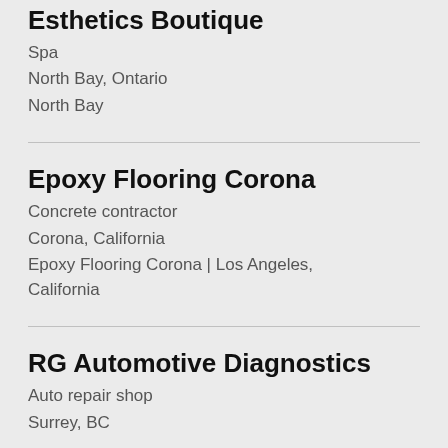Esthetics Boutique
Spa
North Bay, Ontario
North Bay
Epoxy Flooring Corona
Concrete contractor
Corona, California
Epoxy Flooring Corona | Los Angeles, California
RG Automotive Diagnostics
Auto repair shop
Surrey, BC